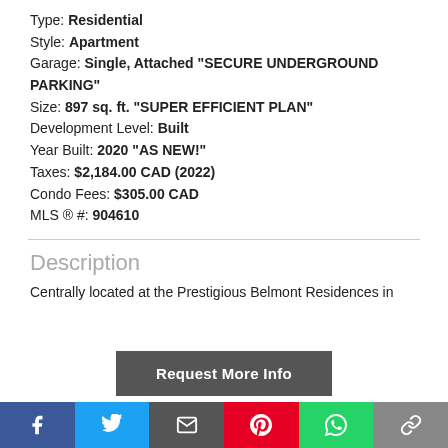Type: Residential
Style: Apartment
Garage: Single, Attached "SECURE UNDERGROUND PARKING"
Size: 897 sq. ft. "SUPER EFFICIENT PLAN"
Development Level: Built
Year Built: 2020 "AS NEW!"
Taxes: $2,184.00 CAD (2022)
Condo Fees: $305.00 CAD
MLS ® #: 904610
Description
Centrally located at the Prestigious Belmont Residences in